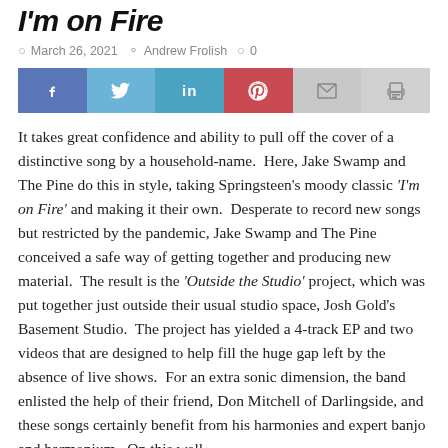I'm on Fire
March 26, 2021  Andrew Frolish  0
[Figure (infographic): Social sharing bar with buttons for Facebook, Twitter, LinkedIn, Pinterest, Email, and Print]
It takes great confidence and ability to pull off the cover of a distinctive song by a household-name.  Here, Jake Swamp and The Pine do this in style, taking Springsteen's moody classic 'I'm on Fire' and making it their own.  Desperate to record new songs but restricted by the pandemic, Jake Swamp and The Pine conceived a safe way of getting together and producing new material.  The result is the 'Outside the Studio' project, which was put together just outside their usual studio space, Josh Gold's Basement Studio.  The project has yielded a 4-track EP and two videos that are designed to help fill the huge gap left by the absence of live shows.  For an extra sonic dimension, the band enlisted the help of their friend, Don Mitchell of Darlingside, and these songs certainly benefit from his harmonies and expert banjo and harmonium.  On this well-